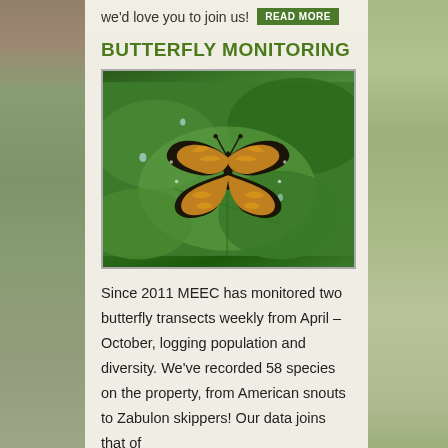we'd love you to join us! READ MORE
BUTTERFLY MONITORING
[Figure (photo): A butterfly with black and yellow/orange markings resting on green leaves with water droplets. The butterfly's wings are spread open showing detailed pattern.]
Since 2011 MEEC has monitored two butterfly transects weekly from April – October, logging population and diversity. We've recorded 58 species on the property, from American snouts to Zabulon skippers! Our data joins that of